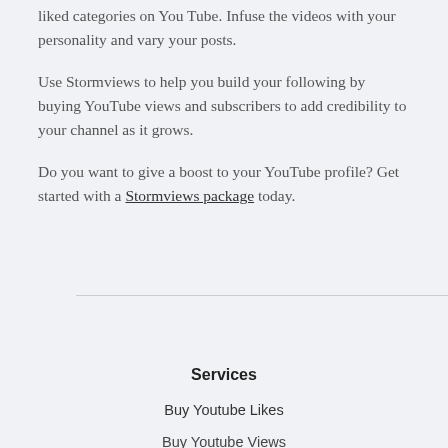liked categories on YouTube. Infuse the videos with your personality and vary your posts.
Use Stormviews to help you build your following by buying YouTube views and subscribers to add credibility to your channel as it grows.
Do you want to give a boost to your YouTube profile? Get started with a Stormviews package today.
Services
Buy Youtube Likes
Buy Youtube Views